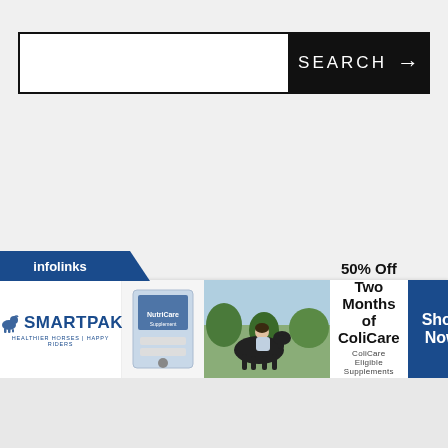[Figure (screenshot): Search bar with text input field on left and black SEARCH button with arrow on right]
[Figure (infographic): Infolinks ad banner: SmartPak logo on left, product image, horse and rider photo, '50% Off Two Months of ColiCare' text with CODE: COLICARE10, and blue Shop Now button on right with X close button]